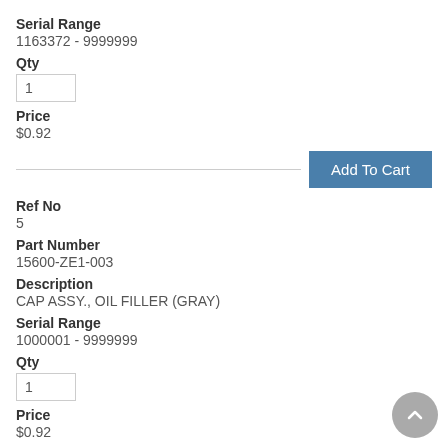Serial Range
1163372 - 9999999
Qty
1
Price
$0.92
Ref No
5
Part Number
15600-ZE1-003
Description
CAP ASSY., OIL FILLER (GRAY)
Serial Range
1000001 - 9999999
Qty
1
Price
$0.92